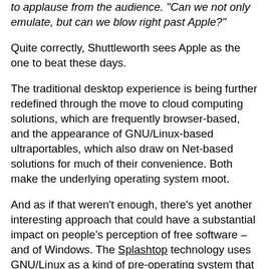to applause from the audience. "Can we not only emulate, but can we blow right past Apple?"
Quite correctly, Shuttleworth sees Apple as the one to beat these days.
The traditional desktop experience is being further redefined through the move to cloud computing solutions, which are frequently browser-based, and the appearance of GNU/Linux-based ultraportables, which also draw on Net-based solutions for much of their convenience. Both make the underlying operating system moot.
And as if that weren't enough, there's yet another interesting approach that could have a substantial impact on people's perception of free software – and of Windows. The Splashtop technology uses GNU/Linux as a kind of pre-operating system that lets users boot up very quickly to gain Internet